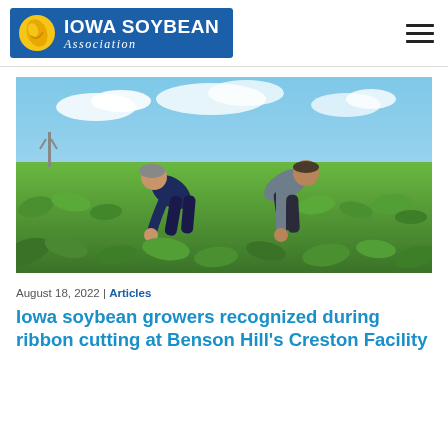[Figure (logo): Iowa Soybean Association logo with blue background, soybean icon, and text]
[Figure (photo): Two men bending over and examining soybean plants in a large green field under a partly cloudy blue sky]
August 18, 2022 | Articles
Iowa soybean growers recognized during ribbon cutting at Benson Hill's Creston Facility